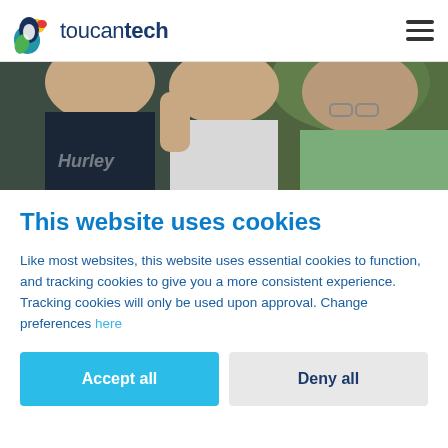toucantech
[Figure (photo): Three people smiling together outdoors — a young man in a dark shirt on the left, an elderly person in white in the center, and an older man with glasses in a plaid shirt on the right.]
This website uses cookies
Like most websites, this website uses essential cookies to function, and tracking cookies to give you a more consistent experience. Tracking cookies will only be used upon approval. Change preferences here